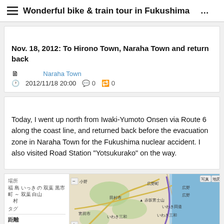Wonderful bike & train tour in Fukushima ふくしまのん…
ふくしまのんびりサイクリング　いわき　双葉　相馬　と　ほ Nov. 18, 2012: To Hirono Town, Naraha Town and return back ↑
ゲスト □ Naraha Town □
2012/11/18 20:00  □0  □0
ふくしま のんびり サイクリング いわき 双葉 相馬 と ほ ふくしまのんびりサイクリングいわき双葉相馬 とほ ふくしまのんびり のんびり ふくしまのんびりサイクリング
Today, I went up north from Iwaki-Yumoto Onsen via Route 6 along the coast line, and returned back before the evacuation zone in Naraha Town for the Fukushima nuclear accident. I also visited Road Station "Yotsukurako" on the way.
[Figure (map): Map showing route from Iwaki area northward along the coast through Hirono and Naraha area, with a purple line indicating the cycling route along Route 6 near the Pacific coast. Stats panel on left shows distance 91.6km, elevation 80m.]